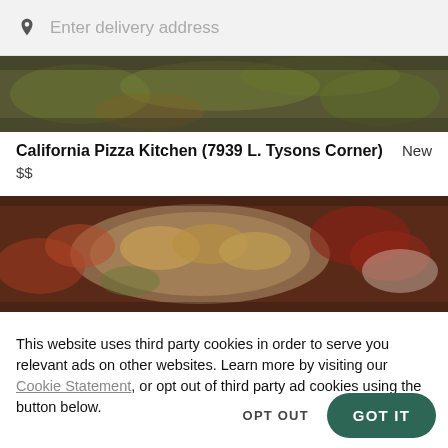Enter delivery address
[Figure (photo): Top strip showing food image — dark toned photo of salad greens and food items]
California Pizza Kitchen (7939 L. Tysons Corner)  New
$$
[Figure (photo): Bottom food image strip — photo showing sandwiches/wraps on a plate with red/white garnishes]
This website uses third party cookies in order to serve you relevant ads on other websites. Learn more by visiting our Cookie Statement, or opt out of third party ad cookies using the button below.
OPT OUT
GOT IT